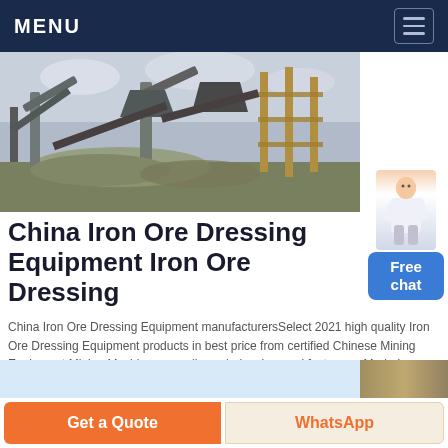MENU
[Figure (photo): Industrial mining/ore dressing equipment with conveyor belts and processing machinery against a cloudy sky]
China Iron Ore Dressing Equipment Iron Ore Dressing
China Iron Ore Dressing Equipment manufacturersSelect 2021 high quality Iron Ore Dressing Equipment products in best price from certified Chinese Mining Equipment Mining Machinery suppliers wholesalers and factory on Made-in-China
Chat Online
[Figure (screenshot): Bottom strip showing partial content area with light blue left section and machinery image on right]
Get a Quote | WhatsApp